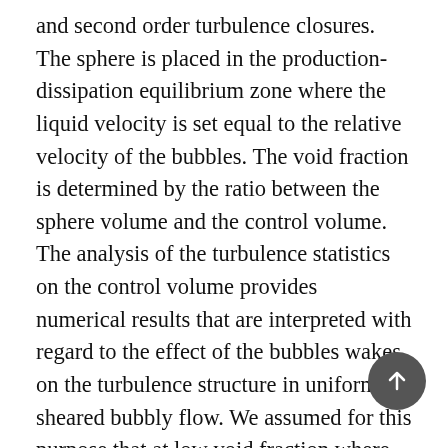and second order turbulence closures. The sphere is placed in the production-dissipation equilibrium zone where the liquid velocity is set equal to the relative velocity of the bubbles. The void fraction is determined by the ratio between the sphere volume and the control volume. The analysis of the turbulence statistics on the control volume provides numerical results that are interpreted with regard to the effect of the bubbles wakes on the turbulence structure in uniformly sheared bubbly flow. We assumed for this purpose that at low void fraction where there is no hydrodynamic interaction between the bubbles, the single-phase flow simulation on an isolated sphere is representative on statistical average of a sphere network. The numerical simulations were firstly validated against the experimental data of bubbly homogeneous turbulence with constant shear and then extended to produce numerical results for a wide